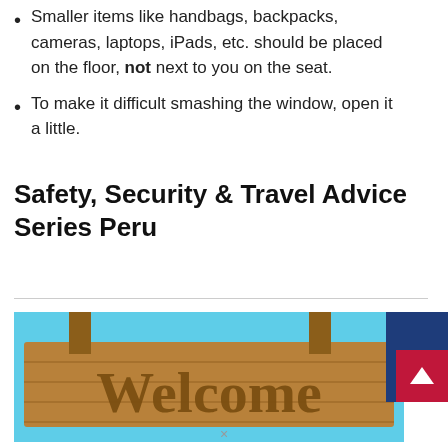Smaller items like handbags, backpacks, cameras, laptops, iPads, etc. should be placed on the floor, not next to you on the seat.
To make it difficult smashing the window, open it a little.
Safety, Security & Travel Advice Series Peru
[Figure (photo): A wooden 'Welcome' sign against a blue sky background, with a blue and red scroll-to-top button on the right side.]
×